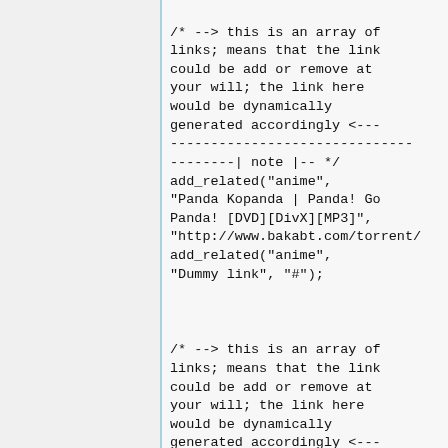/* --> this is an array of links; means that the link could be add or remove at your will; the link here would be dynamically generated accordingly <---------------------------------| note |-- */
add_related("anime",
"Panda Kopanda | Panda! Go Panda! [DVD][DivX][MP3]",
"http://www.bakabt.com/torrent/
add_related("anime",
"Dummy link", "#");
/* --> this is an array of links; means that the link could be add or remove at your will; the link here would be dynamically generated accordingly <---------------------------------| note |-- */
add_related("ost", "No...